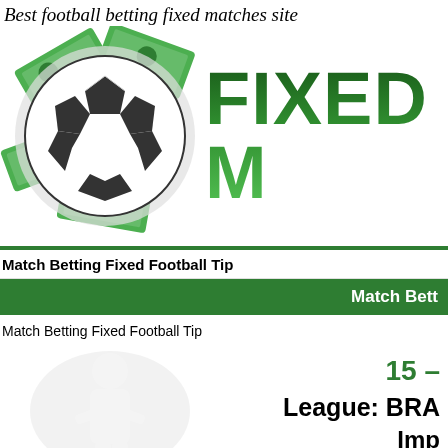Best football betting fixed matches site
[Figure (logo): Soccer ball with money bills around it, and FIXED M text logo in green gradient]
Match Betting Fixed Football Tip
Match Bett
Match Betting Fixed Football Tip
15 –
League: BRA
Impo
Tim